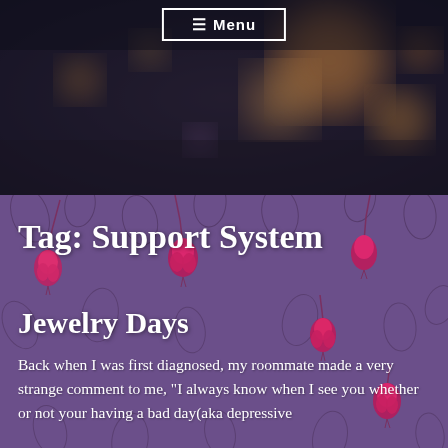[Figure (photo): Dark blurred bokeh background photo with warm orange and dark purple/navy tones, with a menu button overlay at the top center]
≡ Menu
[Figure (illustration): Purple floral pattern background with pink/red hanging bell-shaped flowers and dark leaf outlines on a deep purple background]
Tag: Support System
Jewelry Days
Back when I was first diagnosed, my roommate made a very strange comment to me, "I always know when I see you whether or not your having a bad day(aka depressive episode). W